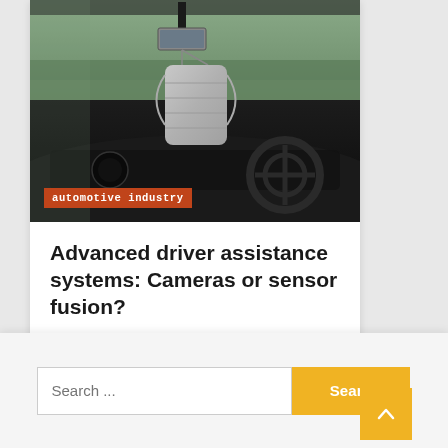[Figure (photo): Photo of a surgical face mask hanging from a car's rear-view mirror inside a vehicle interior, dark dashboard visible in background. Orange category tag 'automotive industry' overlaid at bottom left of image.]
Advanced driver assistance systems: Cameras or sensor fusion?
1 month ago  Shirley G. Houser
Search ...